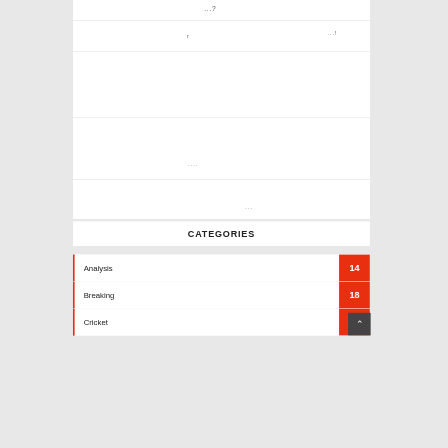| ...? |
| r | ...! |
|  |
| .... |
| ... |
CATEGORIES
Analysis 14
Breaking 18
Cricket 3